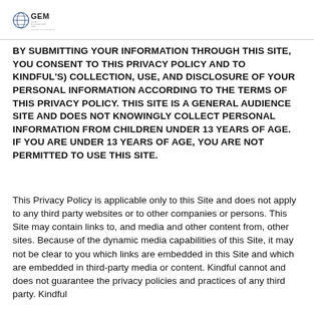GEM Global Empowerment Media
BY SUBMITTING YOUR INFORMATION THROUGH THIS SITE, YOU CONSENT TO THIS PRIVACY POLICY AND TO KINDFUL'S) COLLECTION, USE, AND DISCLOSURE OF YOUR PERSONAL INFORMATION ACCORDING TO THE TERMS OF THIS PRIVACY POLICY. THIS SITE IS A GENERAL AUDIENCE SITE AND DOES NOT KNOWINGLY COLLECT PERSONAL INFORMATION FROM CHILDREN UNDER 13 YEARS OF AGE. IF YOU ARE UNDER 13 YEARS OF AGE, YOU ARE NOT PERMITTED TO USE THIS SITE.
This Privacy Policy is applicable only to this Site and does not apply to any third party websites or to other companies or persons. This Site may contain links to, and media and other content from, other sites. Because of the dynamic media capabilities of this Site, it may not be clear to you which links are embedded in this Site and which are embedded in third-party media or content. Kindful cannot and does not guarantee the privacy policies and practices of any third party. Kindful